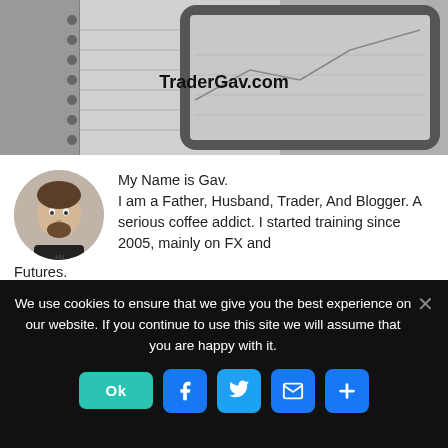[Figure (photo): Grayscale photo of a notebook and tablet/phone with trading charts. Watermark text 'TraderGav.com' overlaid in bold.]
My Name is Gav.
I am a Father, Husband, Trader, And Blogger. A serious coffee addict. I started training since 2005, mainly on FX and Futures.
We use cookies to ensure that we give you the best experience on our website. If you continue to use this site we will assume that you are happy with it.